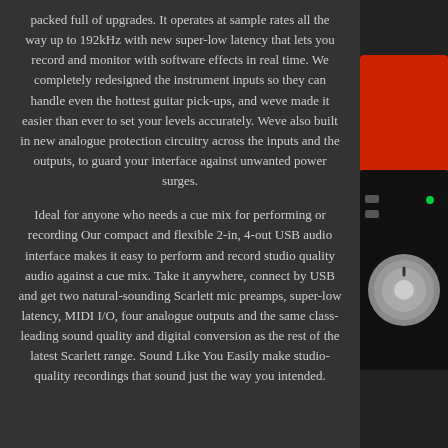packed full of upgrades. It operates at sample rates all the way up to 192kHz with new super-low latency that lets you record and monitor with software effects in real time. We completely redesigned the instrument inputs so they can handle even the hottest guitar pick-ups, and weve made it easier than ever to set your levels accurately. Weve also built in new analogue protection circuitry across the inputs and the outputs, to guard your interface against unwanted power surges.
Ideal for anyone who needs a cue mix for performing or recording Our compact and flexible 2-in, 4-out USB audio interface makes it easy to perform and record studio quality audio against a cue mix. Take it anywhere, connect by USB and get two natural-sounding Scarlett mic preamps, super-low latency, MIDI I/O, four analogue outputs and the same class-leading sound quality and digital conversion as the rest of the latest Scarlett range. Sound Like You Easily make studio-quality recordings that sound just the way you intended.
[Figure (photo): Partial view of a red and black Focusrite Scarlett USB audio interface device showing a large dial/knob, visible on the right side of the page.]